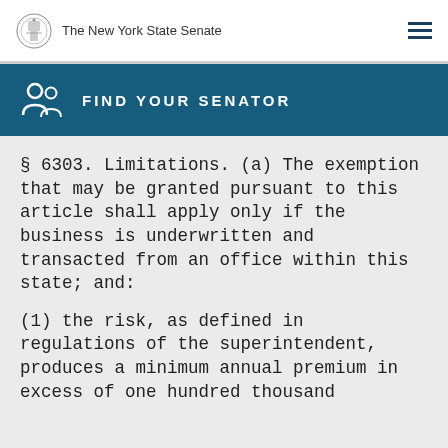The New York State Senate
FIND YOUR SENATOR
§ 6303. Limitations. (a) The exemption that may be granted pursuant to this article shall apply only if the business is underwritten and transacted from an office within this state; and:
(1) the risk, as defined in regulations of the superintendent, produces a minimum annual premium in excess of one hundred thousand